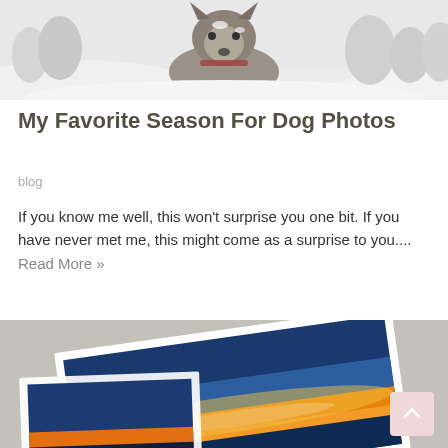[Figure (photo): A husky dog in snowy winter landscape with snow-covered trees in background]
My Favorite Season For Dog Photos
blog
If you know me well, this won't surprise you one bit. If you have never met me, this might come as a surprise to you.... Read More »
[Figure (photo): Photo prints of a dog silhouette against a sunset/dusk sky landscape on a table]